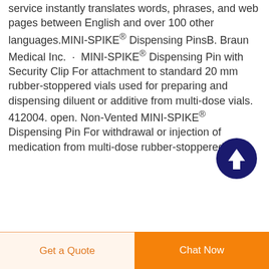service instantly translates words, phrases, and web pages between English and over 100 other languages.MINI-SPIKE® Dispensing PinsB. Braun Medical Inc. · MINI-SPIKE® Dispensing Pin with Security Clip For attachment to standard 20 mm rubber-stoppered vials used for preparing and dispensing diluent or additive from multi-dose vials. 412004. open. Non-Vented MINI-SPIKE® Dispensing Pin For withdrawal or injection of medication from multi-dose rubber-stoppered
[Figure (other): Dark navy blue circular button with a white upward arrow icon, used as a scroll-to-top button]
Get a Quote
Chat Now